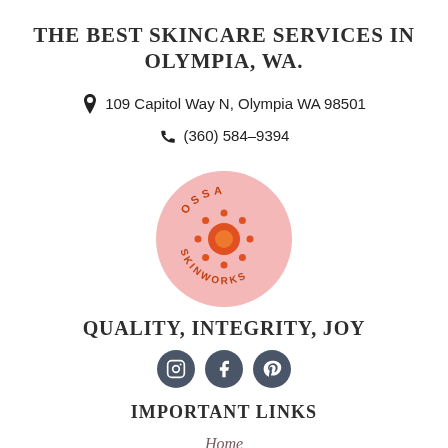THE BEST SKINCARE SERVICES IN OLYMPIA, WA.
109 Capitol Way N, Olympia WA 98501
(360) 584-9394
[Figure (logo): Ossa Skinworks circular logo: pink background circle with orange sun icon in center and text OSSA on top arc and SKINWORKS on bottom arc in orange letters]
QUALITY, INTEGRITY, JOY
[Figure (other): Three social media icon circles (Instagram, Facebook, Pinterest) in dark gray/slate color]
IMPORTANT LINKS
Home